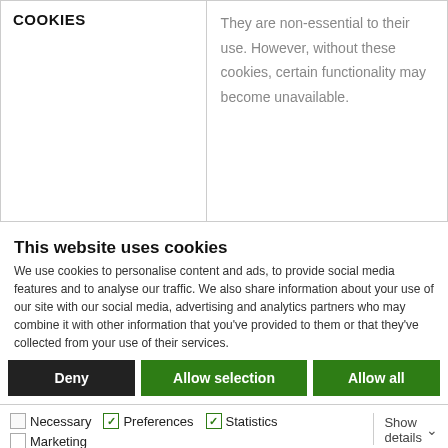| COOKIES | Description |
| --- | --- |
| COOKIES | They are non-essential to their use. However, without these cookies, certain functionality may become unavailable. |
This website uses cookies
We use cookies to personalise content and ads, to provide social media features and to analyse our traffic. We also share information about your use of our site with our social media, advertising and analytics partners who may combine it with other information that you've provided to them or that they've collected from your use of their services.
Deny | Allow selection | Allow all
Necessary  Preferences  Statistics  Marketing  Show details